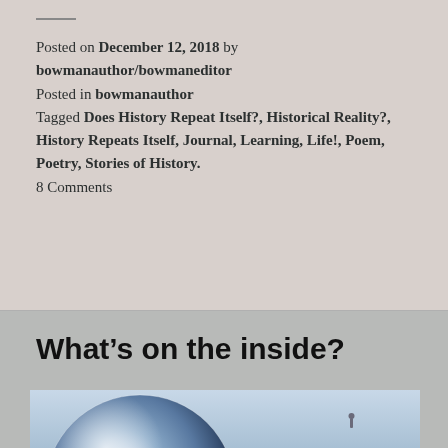Posted on December 12, 2018 by bowmanauthor/bowmaneditor
Posted in bowmanauthor
Tagged Does History Repeat Itself?, Historical Reality?, History Repeats Itself, Journal, Learning, Life!, Poem, Poetry, Stories of History.
8 Comments
What's on the inside?
[Figure (photo): A large blue-tinted reflective sphere (crystal ball or similar) in the foreground on a misty background, with a small distant human figure visible in the background to the right.]